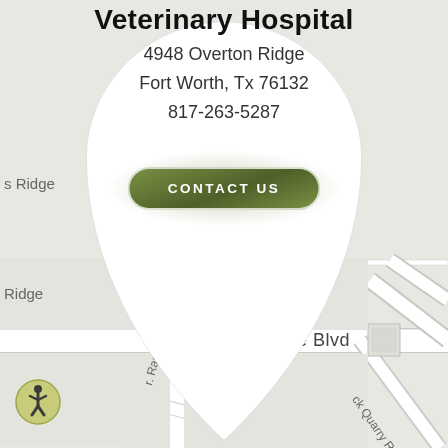Veterinary Hospital
4948 Overton Ridge
Fort Worth, Tx 76132
817-263-5287
[Figure (map): Google Maps style street map showing intersection near Overton Ridge Blvd and surrounding roads including Ranch Blvd and Quarry Rd, with a white teardrop map pin popup showing veterinary hospital contact info]
CONTACT US
[Figure (illustration): Accessibility icon: circular yellow-green badge with person/wheelchair symbol]